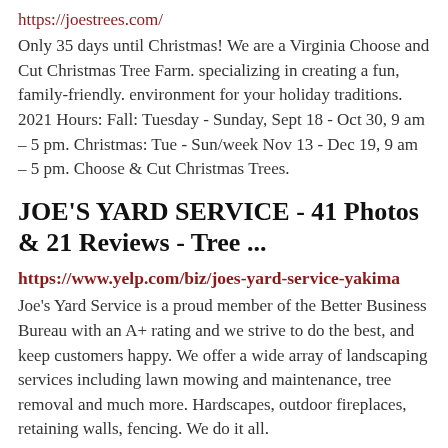https://joestrees.com/
Only 35 days until Christmas! We are a Virginia Choose and Cut Christmas Tree Farm. specializing in creating a fun, family-friendly. environment for your holiday traditions. 2021 Hours: Fall: Tuesday - Sunday, Sept 18 - Oct 30, 9 am – 5 pm. Christmas: Tue - Sun/week Nov 13 - Dec 19, 9 am – 5 pm. Choose & Cut Christmas Trees.
JOE'S YARD SERVICE - 41 Photos & 21 Reviews - Tree ...
https://www.yelp.com/biz/joes-yard-service-yakima
Joe's Yard Service is a proud member of the Better Business Bureau with an A+ rating and we strive to do the best, and keep customers happy. We offer a wide array of landscaping services including lawn mowing and maintenance, tree removal and much more. Hardscapes, outdoor fireplaces, retaining walls, fencing. We do it all.
Jesse Owens South (JOS) Recreation